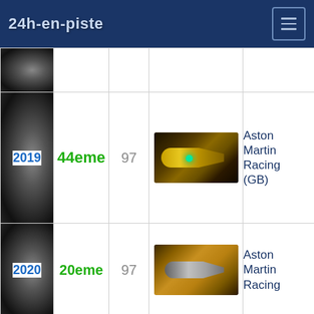24h-en-piste
| Year | Position | Number | Car | Team |
| --- | --- | --- | --- | --- |
|  |  |  |  |  |
| 2019 | 44eme | 97 | [car image] | Aston Martin Racing (GB) |
| 2020 | 20eme | 97 | [car image] | Aston Martin Racing |